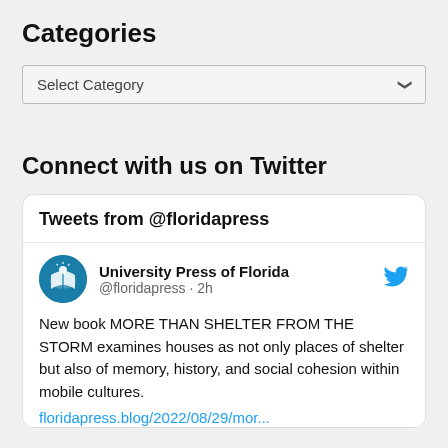Categories
Select Category
Connect with us on Twitter
Tweets from @floridapress
University Press of Florida @floridapress · 2h
New book MORE THAN SHELTER FROM THE STORM examines houses as not only places of shelter but also of memory, history, and social cohesion within mobile cultures.
floridapress.blog/2022/08/29/mor...